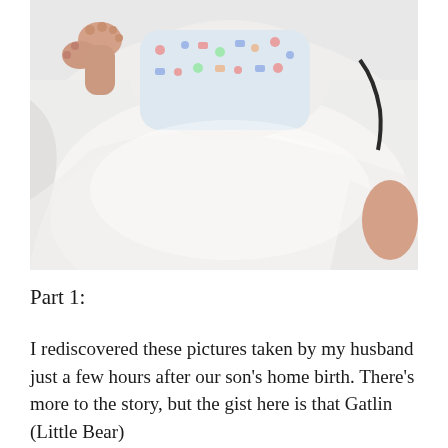[Figure (photo): A newborn baby in a patterned onesie with small vehicles/animals print, lying on white bedding/sheets. The baby's feet are visible on the left side, and the image is taken from above.]
Part 1:
I rediscovered these pictures taken by my husband just a few hours after our son's home birth. There's more to the story, but the gist here is that Gatlin (Little Bear)